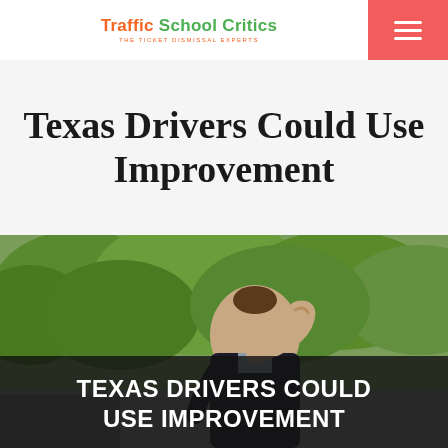Traffic School Critics — THE TICKET DISMISSAL EXPERTS
Texas Drivers Could Use Improvement
[Figure (photo): A man holding the back of his neck in pain, standing outdoors with green trees in background, suggesting a car accident injury. Overlay text reads: TEXAS DRIVERS COULD USE IMPROVEMENT]